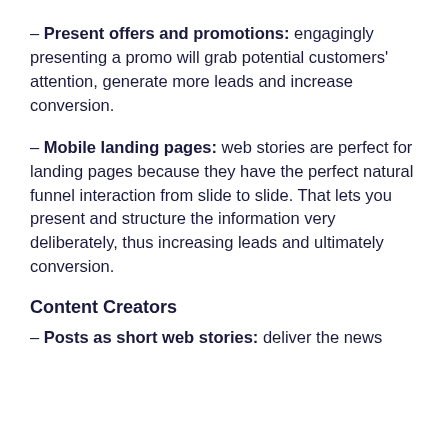– Present offers and promotions: engagingly presenting a promo will grab potential customers' attention, generate more leads and increase conversion.
– Mobile landing pages: web stories are perfect for landing pages because they have the perfect natural funnel interaction from slide to slide. That lets you present and structure the information very deliberately, thus increasing leads and ultimately conversion.
Content Creators
– Posts as short web stories: deliver the news